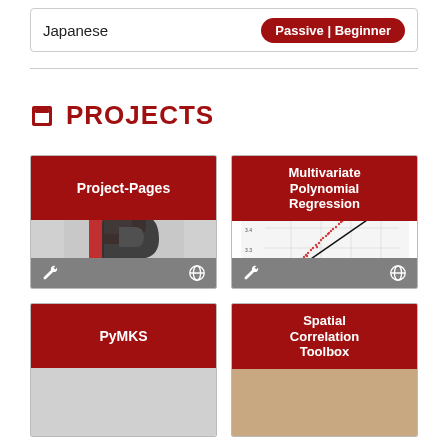Japanese
Passive | Beginner
PROJECTS
[Figure (illustration): Project-Pages card with red header showing 'Project-Pages' and a stylized P logo below]
[Figure (continuous-plot): Multivariate Polynomial Regression card with scatter plot titled 'Goodness of Fit Scatter Plot', showing red scatter points along a diagonal line]
[Figure (illustration): PyMKS project card with red header]
[Figure (illustration): Spatial Correlation Toolbox project card with red header]